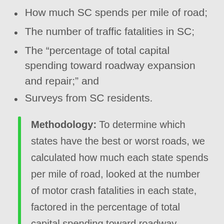How much SC spends per mile of road;
The number of traffic fatalities in SC;
The “percentage of total capital spending toward roadway expansion and repair;” and
Surveys from SC residents.
Methodology: To determine which states have the best or worst roads, we calculated how much each state spends per mile of road, looked at the number of motor crash fatalities in each state, factored in the percentage of total capital spending toward roadway expansion and repair and surveyed 1,418 consumers across the U.S. about road conditions near them.